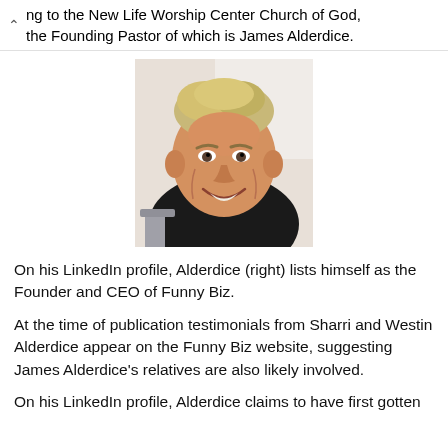ng to the New Life Worship Center Church of God, the Founding Pastor of which is James Alderdice.
[Figure (photo): Portrait photo of a middle-aged man with blond/gray hair smiling, wearing a dark shirt, photographed indoors]
On his LinkedIn profile, Alderdice (right) lists himself as the Founder and CEO of Funny Biz.
At the time of publication testimonials from Sharri and Westin Alderdice appear on the Funny Biz website, suggesting James Alderdice's relatives are also likely involved.
On his LinkedIn profile, Alderdice claims to have first gotten